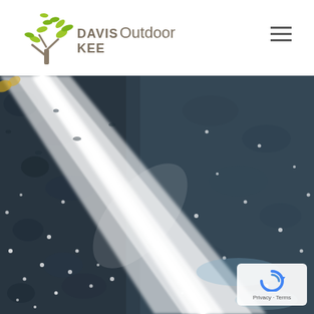[Figure (logo): Davis Kee Outdoor logo with stylized green tree/plant graphic and grey text]
[Figure (photo): Close-up photo of a high-pressure water jet spraying onto a dark wet asphalt/pavement surface, with water sparkling and spreading outward]
Privacy · Terms